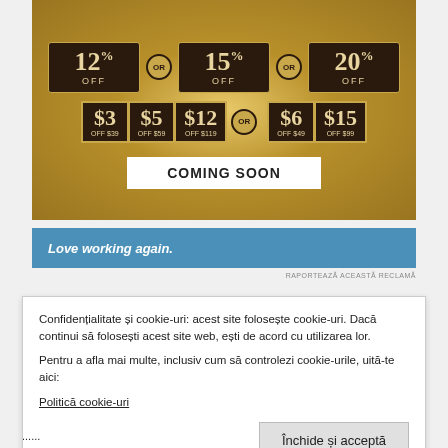[Figure (infographic): Gold glitter background advertisement showing discount coupons: 12% OFF, 15% OFF, 20% OFF (or options), and dollar-off coupons: $3 OFF $39, $5 OFF $59, $12 OFF $119 OR $6 OFF $49, $15 OFF $99. A white 'COMING SOON' button is shown at the bottom of the ad.]
[Figure (infographic): Blue banner ad with white italic bold text: 'Love working again.']
RAPORTEAZĂ ACEASTĂ RECLAMĂ
Confidențialitate și cookie-uri: acest site folosește cookie-uri. Dacă continui să folosești acest site web, ești de acord cu utilizarea lor.
Pentru a afla mai multe, inclusiv cum să controlezi cookie-urile, uită-te aici:
Politică cookie-uri
Închide și acceptă